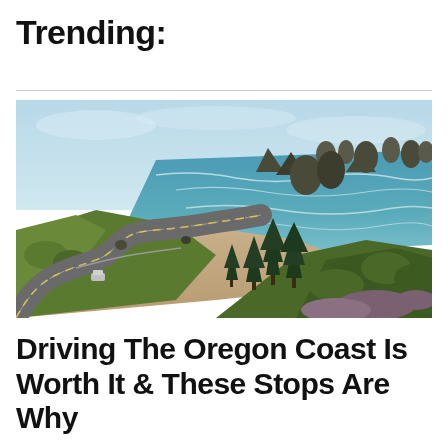Trending:
[Figure (photo): Aerial view of a winding coastal highway along the Oregon Coast with rocky sea stacks, ocean waves, sandy beach, evergreen trees, and a single car on the road.]
Driving The Oregon Coast Is Worth It & These Stops Are Why